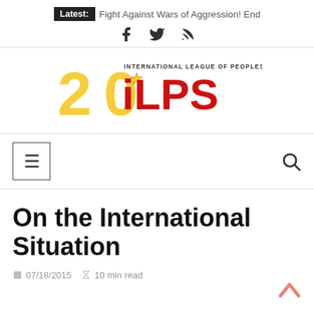Latest: Fight Against Wars of Aggression! End
[Figure (logo): ILPS 20th anniversary logo - International League of Peoples' Struggle, red and yellow logo with '20' and star]
[Figure (other): Navigation bar with hamburger menu icon and search icon]
On the International Situation
07/18/2015  10 min read